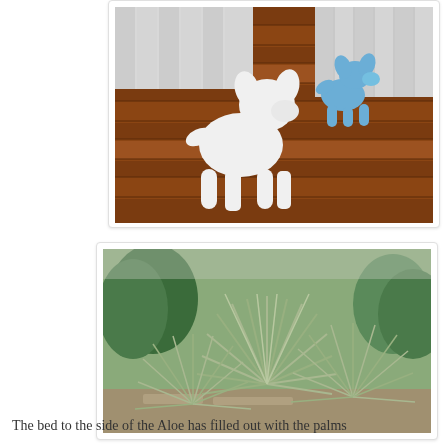[Figure (photo): Two balloon animal dog sculptures on a wooden deck — one white (large, in foreground) and one blue (smaller, in background). The deck is reddish-brown worn wood, and a white wall/fence is visible behind.]
[Figure (photo): A garden bed filled with spiky silver-green fan palms or grass trees (possibly Nolina or similar spiky palm-like plants) with various green trees and shrubs visible in the background.]
The bed to the side of the Aloe has filled out with the palms